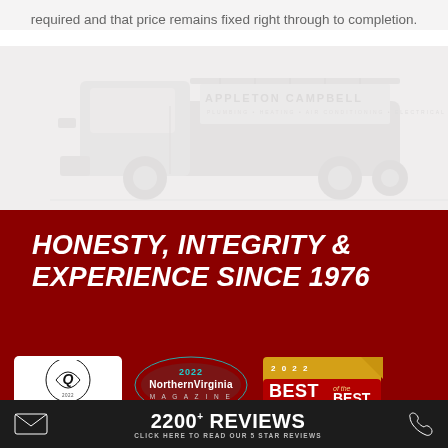required and that price remains fixed right through to completion.
[Figure (photo): Appleton Campbell service truck with company logo and branding, shown in light gray watermark style]
HONESTY, INTEGRITY & EXPERIENCE SINCE 1976
[Figure (logo): 2022 Presidents Award logo badge]
[Figure (logo): 2022 Northern Virginia Magazine logo badge]
[Figure (logo): 2022 Best of the Best badge]
2200+ REVIEWS CLICK HERE TO READ OUR 5 STAR REVIEWS